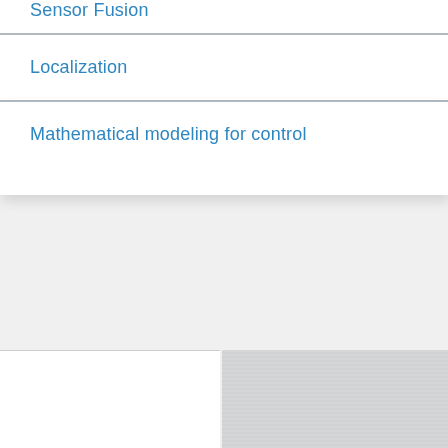Sensor Fusion
Localization
Mathematical modeling for control
[Figure (other): Bottom section with white left panel and brushed grey right panel background]